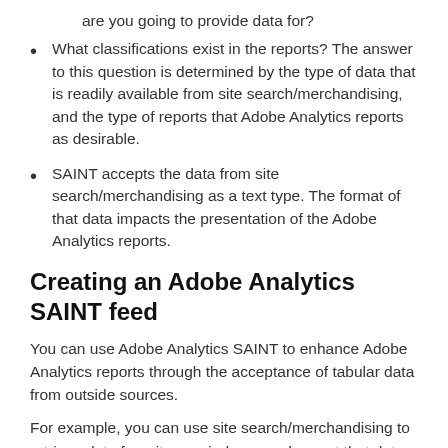are you going to provide data for?
What classifications exist in the reports? The answer to this question is determined by the type of data that is readily available from site search/merchandising, and the type of reports that Adobe Analytics reports as desirable.
SAINT accepts the data from site search/merchandising as a text type. The format of that data impacts the presentation of the Adobe Analytics reports.
Creating an Adobe Analytics SAINT feed
You can use Adobe Analytics SAINT to enhance Adobe Analytics reports through the acceptance of tabular data from outside sources.
For example, you can use site search/merchandising to retrieve data from its own indexes and export that data to Adobe Analytics.